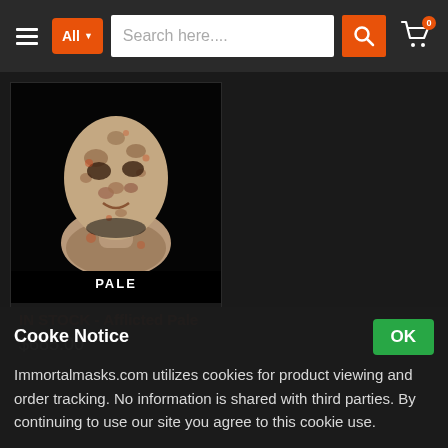Search bar with All category dropdown, search field, and cart icon
[Figure (photo): Product photo of a pale, grotesque horror mask labeled PALE on black background]
IN STOCK - Afflicted Pale
$685.00
Cooke Notice
Immortalmasks.com utilizes cookies for product viewing and order tracking. No information is shared with third parties. By continuing to use our site you agree to this cookie use.